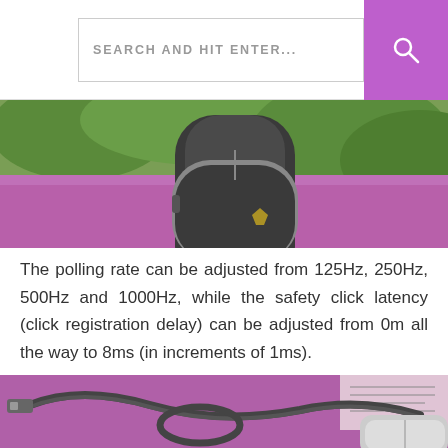[Figure (screenshot): Search bar with text 'SEARCH AND HIT ENTER...' and a purple search button with magnifying glass icon]
[Figure (photo): A dark computer mouse placed on a purple/pink knitted fabric with green foliage in the background]
The polling rate can be adjusted from 125Hz, 250Hz, 500Hz and 1000Hz, while the safety click latency (click registration delay) can be adjusted from 0m all the way to 8ms (in increments of 1ms).
[Figure (photo): A USB cable on pink/purple knitted fabric with some papers in the background]